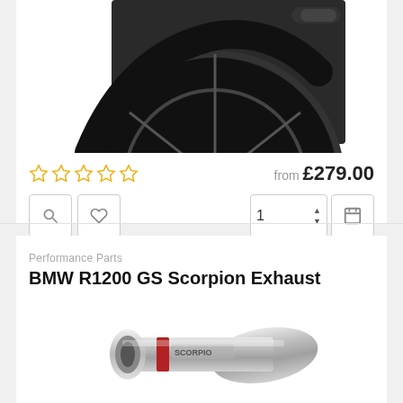[Figure (photo): Partial view of a motorcycle rear wheel area, black background, top of first product listing]
☆☆☆☆☆  from £279.00
[Figure (photo): Scorpion exhaust pipe product photo, chrome/silver finish with red Scorpion branding, bottom of page]
Performance Parts
BMW R1200 GS Scorpion Exhaust